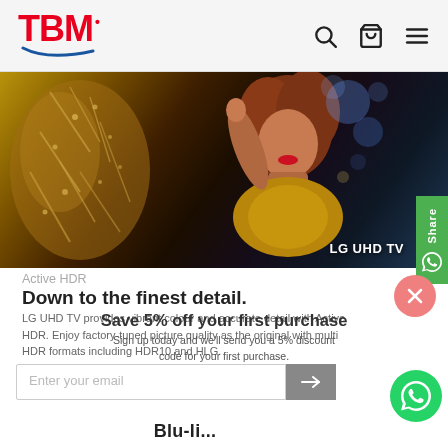TBM
[Figure (photo): Hero banner image showing a woman with curly red hair decorating, with text overlay 'LG UHD TV']
Active HDR
Down to the finest detail.
LG UHD TV provides vibrant colour and accurate detail with Active HDR. Enjoy factory-tuned picture quality as the original with multi HDR formats including HDR10 and HLG.
Save 5% off your first purchase
Sign up today and we'll send you a 5% discount code for your first purchase.
Enter your email
Blu-li...